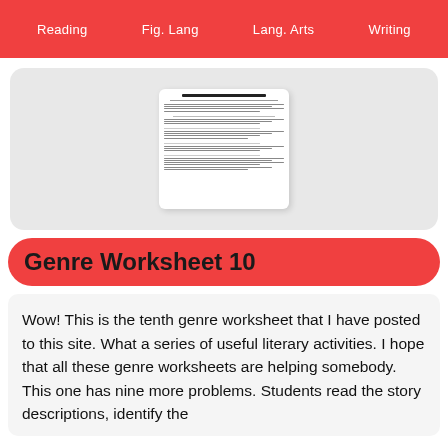Reading | Fig. Lang | Lang. Arts | Writing
[Figure (screenshot): A thumbnail preview of a Genre Worksheet document with multiple reading passages and questions]
Genre Worksheet 10
Wow! This is the tenth genre worksheet that I have posted to this site. What a series of useful literary activities. I hope that all these genre worksheets are helping somebody. This one has nine more problems. Students read the story descriptions, identify the genre, and explain their answers.